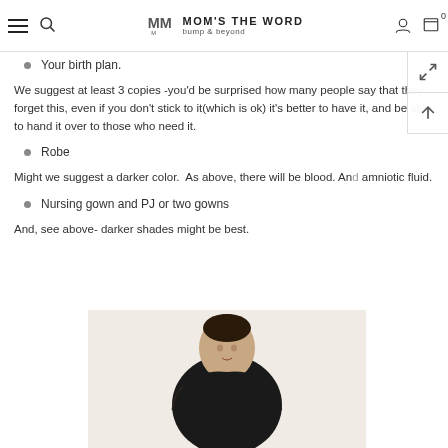MOM'S THE WORD bump & beyond
Your birth plan.
We suggest at least 3 copies -you'd be surprised how many people say that they forget this, even if you don't stick to it(which is ok) it's better to have it, and be able to hand it over to those who need it.
Robe
Might we suggest a darker color.  As above, there will be blood. And amniotic fluid.
Nursing gown and PJ or two gowns
And, see above- darker shades might be best.
[Figure (photo): A woman with dark hair in an updo, wearing a dark (black) nursing gown or robe, photographed against a light beige background]